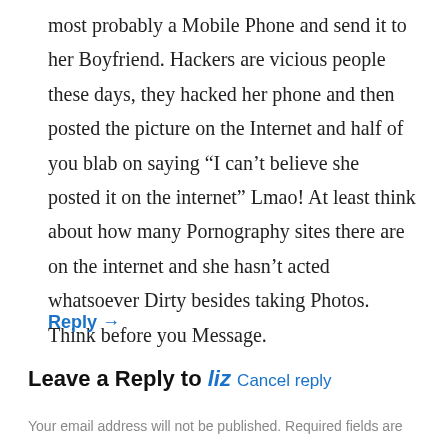most probably a Mobile Phone and send it to her Boyfriend. Hackers are vicious people these days, they hacked her phone and then posted the picture on the Internet and half of you blab on saying “I can’t believe she posted it on the internet” Lmao! At least think about how many Pornography sites there are on the internet and she hasn’t acted whatsoever Dirty besides taking Photos. Think before you Message.
Reply →
Leave a Reply to liz Cancel reply
Your email address will not be published. Required fields are